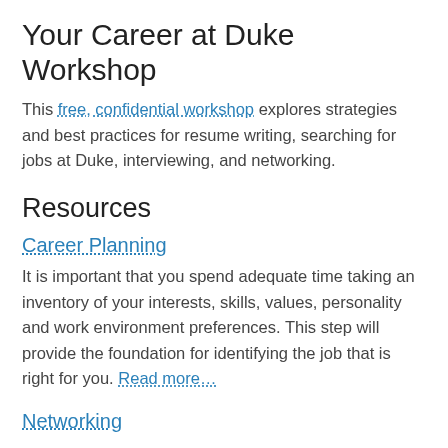Your Career at Duke Workshop
This free, confidential workshop explores strategies and best practices for resume writing, searching for jobs at Duke, interviewing, and networking.
Resources
Career Planning
It is important that you spend adequate time taking an inventory of your interests, skills, values, personality and work environment preferences. This step will provide the foundation for identifying the job that is right for you. Read more…
Networking